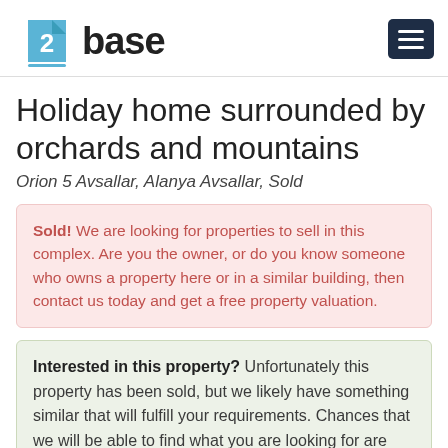[Figure (logo): 2base logo with blue document icon and wordmark]
Holiday home surrounded by orchards and mountains
Orion 5 Avsallar, Alanya Avsallar, Sold
Sold! We are looking for properties to sell in this complex. Are you the owner, or do you know someone who owns a property here or in a similar building, then contact us today and get a free property valuation.
Interested in this property? Unfortunately this property has been sold, but we likely have something similar that will fulfill your requirements. Chances that we will be able to find what you are looking for are pretty high. Contact us today and we will do our best to help you.